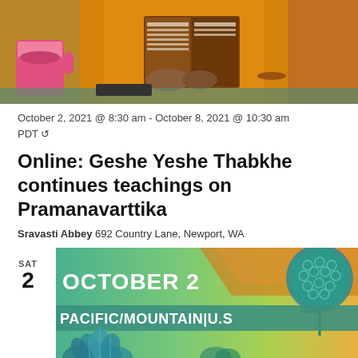[Figure (photo): A monk in orange robes reading from a book, with a decorative mug and other items on a table in the background.]
October 2, 2021 @ 8:30 am - October 8, 2021 @ 10:30 am PDT ↺
Online: Geshe Yeshe Thabkhe continues teachings on Pramanavarttika
Sravasti Abbey 692 Country Lane, Newport, WA
SAT
2
[Figure (illustration): Colorful banner with teal lotus and floral designs on green and orange gradient background. Text reads OCTOBER 2 and PACIFIC/MOUNTAIN U.S.]